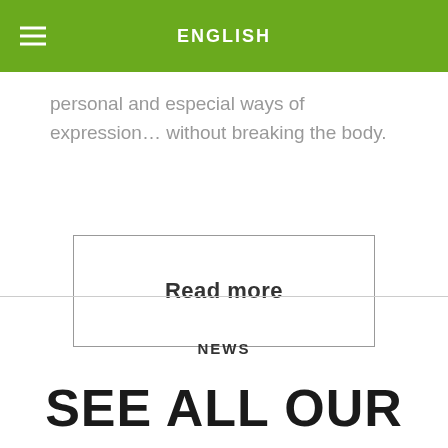ENGLISH
personal and especial ways of expression… without breaking the body.
Read more
NEWS
SEE ALL OUR